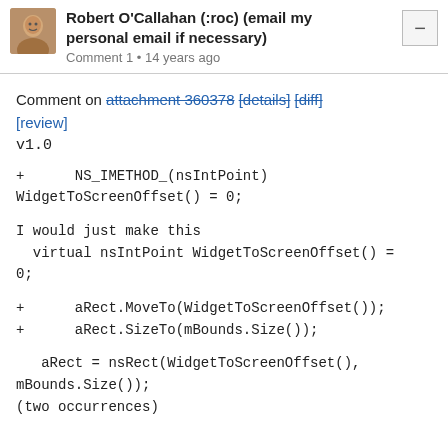Robert O'Callahan (:roc) (email my personal email if necessary)
Comment 1 • 14 years ago
Comment on attachment 360378 [details] [diff] [review]
v1.0
+      NS_IMETHOD_(nsIntPoint) WidgetToScreenOffset() = 0;
I would just make this
  virtual nsIntPoint WidgetToScreenOffset() =
0;
+      aRect.MoveTo(WidgetToScreenOffset());
+      aRect.SizeTo(mBounds.Size());
aRect = nsRect(WidgetToScreenOffset(),
mBounds.Size());
(two occurrences)